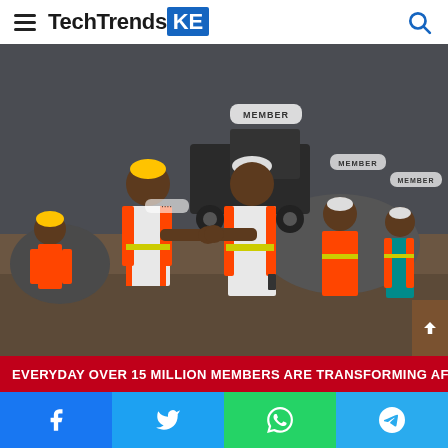TechTrendsKE
[Figure (photo): Construction workers in orange safety vests and hard hats on a worksite, two of them doing a fist bump in the foreground, with more workers and heavy machinery in the background. Overlay labels reading 'MEMBER' appear on some workers.]
EVERYDAY OVER 15 MILLION MEMBERS ARE TRANSFORMING AFRICA